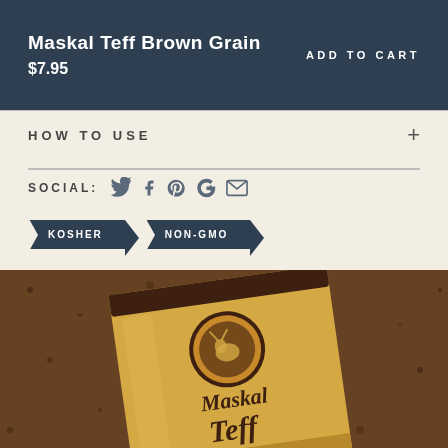Maskal Teff Brown Grain
$7.95
ADD TO CART
HOW TO USE
SOCIAL:
KOSHER
NON-GMO
[Figure (photo): A yellow bag of Maskal Teff product on a dark brown speckled surface, showing the Maskal Teff brand name and decorative logo]